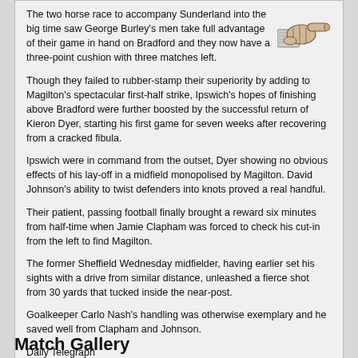The two horse race to accompany Sunderland into the big time saw George Burley's men take full advantage of their game in hand on Bradford and they now have a three-point cushion with three matches left.
[Figure (illustration): A vintage engraving of a pointing hand/fist with index finger extended to the right.]
Though they failed to rubber-stamp their superiority by adding to Magilton's spectacular first-half strike, Ipswich's hopes of finishing above Bradford were further boosted by the successful return of Kieron Dyer, starting his first game for seven weeks after recovering from a cracked fibula.
Ipswich were in command from the outset, Dyer showing no obvious effects of his lay-off in a midfield monopolised by Magilton. David Johnson's ability to twist defenders into knots proved a real handful.
Their patient, passing football finally brought a reward six minutes from half-time when Jamie Clapham was forced to check his cut-in from the left to find Magilton.
The former Sheffield Wednesday midfielder, having earlier set his sights with a drive from similar distance, unleashed a fierce shot from 30 yards that tucked inside the near-post.
Goalkeeper Carlo Nash's handling was otherwise exemplary and he saved well from Clapham and Johnson.
Daily Telegraph
Match Gallery